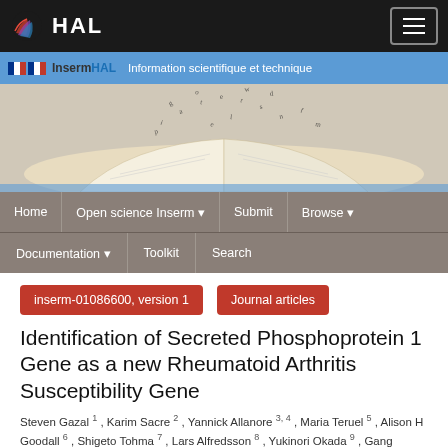[Figure (screenshot): HAL repository website header with logo and hamburger menu on dark background]
[Figure (screenshot): InsermHAL banner with book image, navigation menus (Home, Open science Inserm, Submit, Browse, Documentation, Toolkit, Search)]
inserm-01086600, version 1
Journal articles
Identification of Secreted Phosphoprotein 1 Gene as a new Rheumatoid Arthritis Susceptibility Gene
Steven Gazal 1 , Karim Sacre 2 , Yannick Allanore 3, 4 , Maria Teruel 5 , Alison H Goodall 6 , Shigeto Tohma 7 , Lars Alfredsson 8 , Yukinori Okada 9 , Gang ...